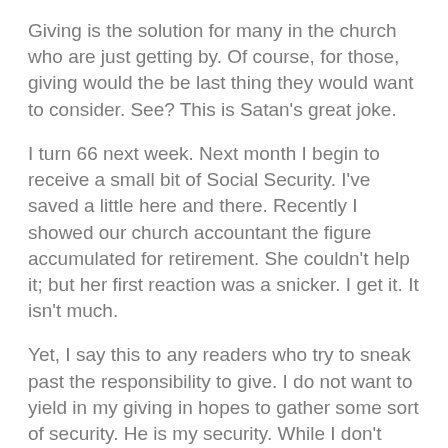Giving is the solution for many in the church who are just getting by.  Of course, for those, giving would the be last thing they would want to consider.  See?  This is Satan's great joke.
I turn 66 next week.  Next month I begin to receive a small bit of Social Security.  I've saved a little here and there.  Recently I showed our church accountant the figure accumulated for retirement.  She couldn't help it; but her first reaction was a snicker.  I get it.  It isn't much.
Yet, I say this to any readers who try to sneak past the responsibility to give.  I do not want to yield in my giving in hopes to gather some sort of security.  He is my security.  While I don't wish to be irresponsible for my future; my future will be the exact same as my past; dependency upon Him.
How He will provide?  I assume the same way He has provided thus far; really well.
Giving is an art to the believer.  It is a joke to Satan.  We can't walk both lanes.  We will love the one and joke about